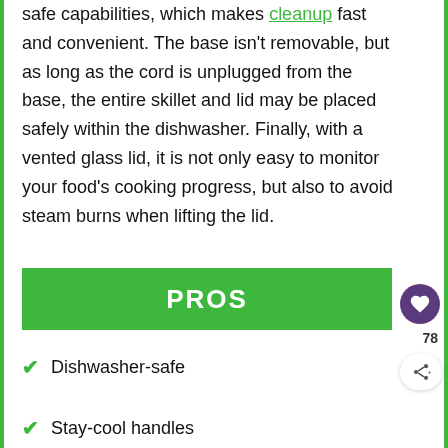safe capabilities, which makes cleanup fast and convenient. The base isn't removable, but as long as the cord is unplugged from the base, the entire skillet and lid may be placed safely within the dishwasher. Finally, with a vented glass lid, it is not only easy to monitor your food's cooking progress, but also to avoid steam burns when lifting the lid.
PROS
Dishwasher-safe
Stay-cool handles